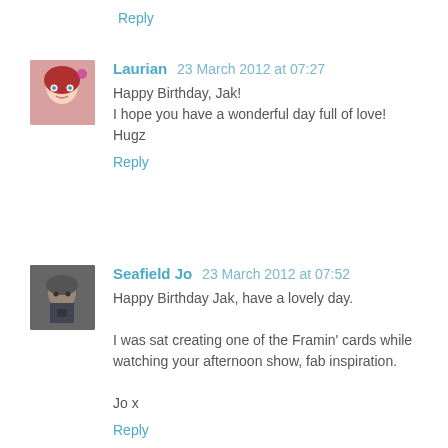Reply
Laurian 23 March 2012 at 07:27
Happy Birthday, Jak!
I hope you have a wonderful day full of love!
Hugz
Reply
Seafield Jo 23 March 2012 at 07:52
Happy Birthday Jak, have a lovely day.

I was sat creating one of the Framin' cards while watching your afternoon show, fab inspiration.

Jo x
Reply